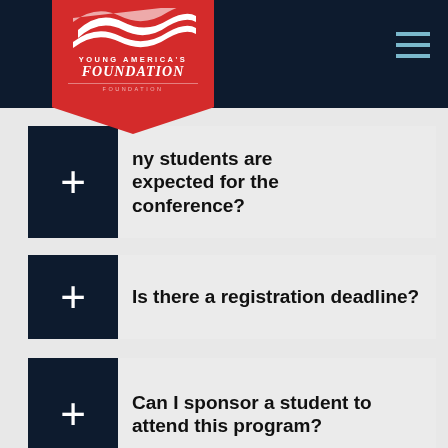[Figure (logo): Young America's Foundation logo - red pennant shield with white wave stripes and text]
...ny students are expected for the conference?
Is there a registration deadline?
Can I sponsor a student to attend this program?
What if I have other questions?
[Figure (infographic): Social media icons row: Facebook (blue), Twitter (cyan), YouTube (red), Instagram (pink/magenta), Podcast (purple)]
What are the terms and